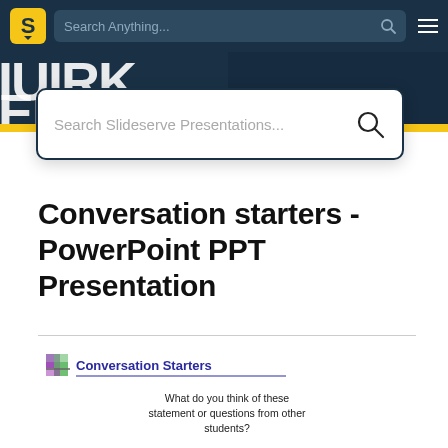[Figure (screenshot): Slideserve website navigation bar with logo, search bar reading 'Search Anything...' and hamburger menu on dark teal background]
[Figure (screenshot): Search overlay modal with placeholder text 'Search Slideserve Presentations...' and search icon, with banner showing large letters in background]
Conversation starters - PowerPoint PPT Presentation
[Figure (screenshot): Thumbnail of presentation slide showing 'Conversation Starters' title with colorful logo icon and text: What do you think of these statement or questions from other students?]